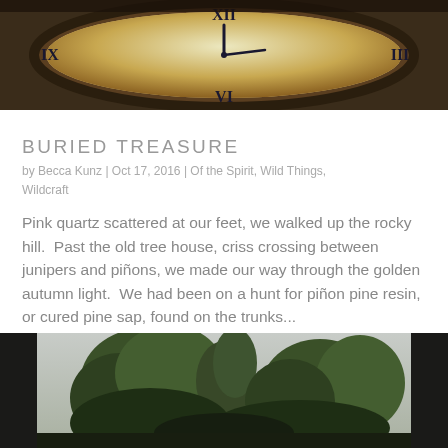[Figure (photo): Close-up photo of an ornate vintage clock face with Roman numerals, showing a weathered, rustic appearance with a dark metal frame, partially cropped at the top of the page.]
BURIED TREASURE
by Becca Kunz | Oct 17, 2016 | Of the Spirit, Wild Things, Wildcraft
Pink quartz scattered at our feet, we walked up the rocky hill.  Past the old tree house, criss crossing between junipers and piñons, we made our way through the golden autumn light.  We had been on a hunt for piñon pine resin, or cured pine sap, found on the trunks...
[Figure (photo): Outdoor photograph of tall pine and juniper trees against an overcast sky, taken from below looking upward, with dark green foliage visible.]